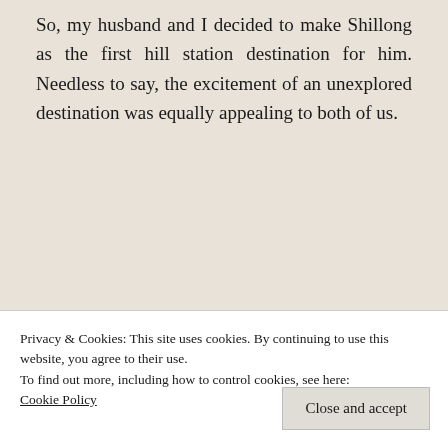So, my husband and I decided to make Shillong as the first hill station destination for him. Needless to say, the excitement of an unexplored destination was equally appealing to both of us.
The journey –
[Figure (photo): Misty hill station landscape with cloudy sky, showing a road or path partially obscured by fog and clouds]
Privacy & Cookies: This site uses cookies. By continuing to use this website, you agree to their use.
To find out more, including how to control cookies, see here: Cookie Policy
Close and accept